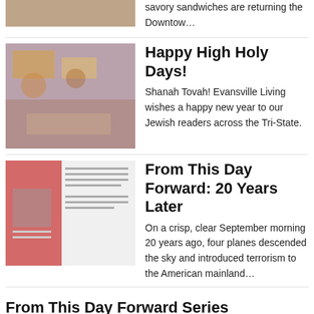savory sandwiches are returning the Downtow…
Happy High Holy Days!
Shanah Tovah! Evansville Living wishes a happy new year to our Jewish readers across the Tri-State.
From This Day Forward: 20 Years Later
On a crisp, clear September morning 20 years ago, four planes descended the sky and introduced terrorism to the American mainland…
From This Day Forward Series
Starting with its November/December 2001 issue, Evansville Living shared Tri-State residents' stories in a series called "From This…